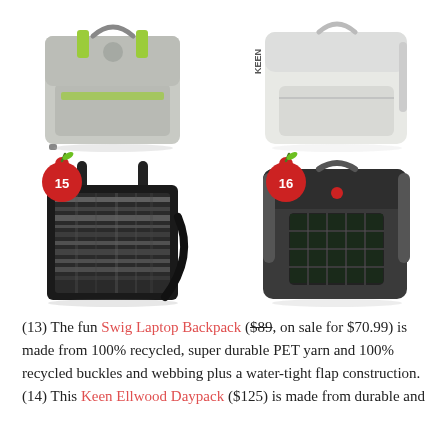[Figure (photo): Four product backpack images in a 2x2 grid. Top-left: gray Swig Laptop Backpack with green/lime accents. Top-right: white/light gray Keen Ellwood Daypack. Bottom-left (labeled 15): black patterned tote/backpack. Bottom-right (labeled 16): dark gray backpack with solar panel on front.]
(13) The fun Swig Laptop Backpack ($89, on sale for $70.99) is made from 100% recycled, super durable PET yarn and 100% recycled buckles and webbing plus a water-tight flap construction. (14) This Keen Ellwood Daypack ($125) is made from durable and